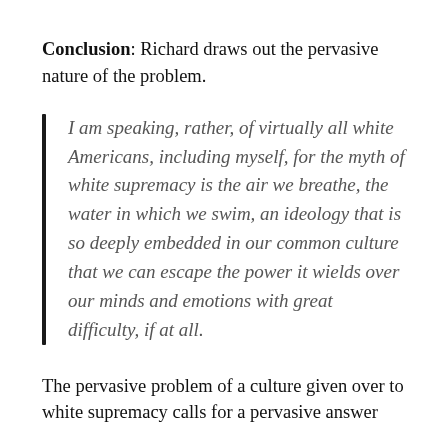Conclusion: Richard draws out the pervasive nature of the problem.
I am speaking, rather, of virtually all white Americans, including myself, for the myth of white supremacy is the air we breathe, the water in which we swim, an ideology that is so deeply embedded in our common culture that we can escape the power it wields over our minds and emotions with great difficulty, if at all.
The pervasive problem of a culture given over to white supremacy calls for a pervasive answer